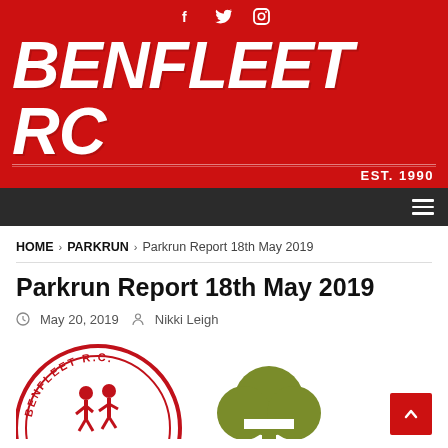f  🐦  Instagram (social icons)
[Figure (logo): Benfleet RC logo banner — bold italic white text 'BENFLEET RC' on red background with 'EST. 1990' tagline and decorative lines]
Navigation bar with hamburger menu
HOME > PARKRUN > Parkrun Report 18th May 2019
Parkrun Report 18th May 2019
May 20, 2019  Nikki Leigh
[Figure (illustration): Partial view of Benfleet RC circular club logo (red, runners) alongside a partial olive/green parkrun tree logo, bottom of page]